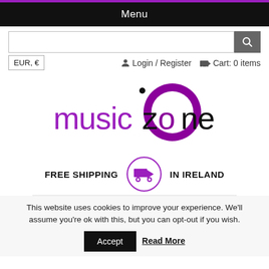Menu
EUR, €
Login / Register   Cart: 0 items
[Figure (logo): Music Zone logo with purple circle and truck icon. Text reads 'music zone' in purple and black. Below: FREE SHIPPING [truck icon in purple circle] IN IRELAND]
This website uses cookies to improve your experience. We'll assume you're ok with this, but you can opt-out if you wish.
Accept   Read More